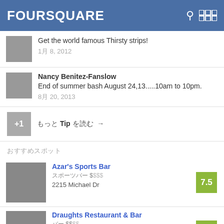FOURSQUARE
Get the world famous Thirsty strips!
1月 8, 2012
Nancy Benitez-Fanslow
End of summer bash August 24,13.....10am to 10pm.
8月 20, 2013
+1  もっと Tip を読む →
おすすめスポット
Azar's Sports Bar
スポーツバー $$$
2215 Michael Dr
7.5
Draughts Restaurant & Bar
バー $$$$
398 N Moorpark Rd (Brazil)
7.0
Crown & Anchor
バー $$$$
3891 E Thousand Oaks Blvd (
6.5